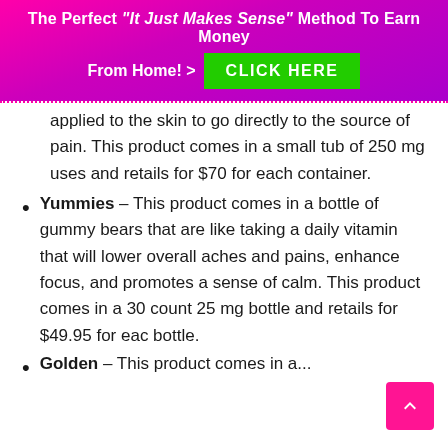The Perfect "It Just Makes Sense" Method To Earn Money From Home! > CLICK HERE
applied to the skin to go directly to the source of pain. This product comes in a small tub of 250 mg uses and retails for $70 for each container.
Yummies – This product comes in a bottle of gummy bears that are like taking a daily vitamin that will lower overall aches and pains, enhance focus, and promotes a sense of calm. This product comes in a 30 count 25 mg bottle and retails for $49.95 for each bottle.
Golden – This product comes in a...